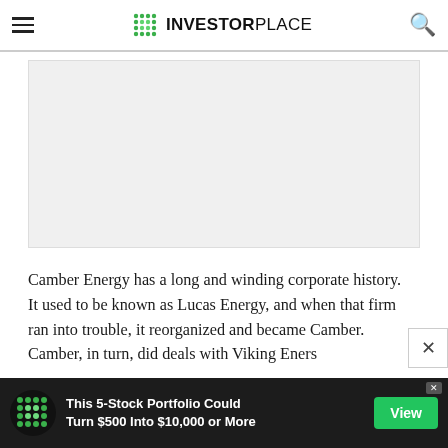INVESTORPLACE
[Figure (other): Advertisement placeholder box (gray rectangle)]
Camber Energy has a long and winding corporate history. It used to be known as Lucas Energy, and when that firm ran into trouble, it reorganized and became Camber. Camber, in turn, did deals with Viking Energ
[Figure (other): Bottom advertisement banner: 'This 5-Stock Portfolio Could Turn $500 Into $10,000 or More' with green View button and InvestorPlace logo]